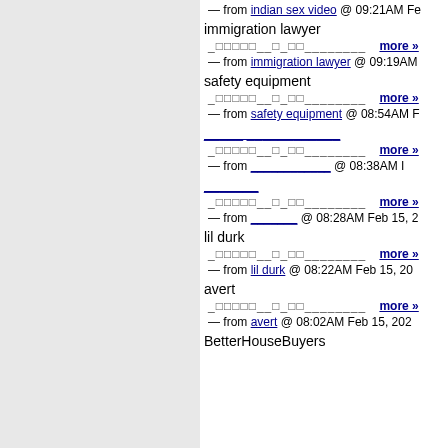— from indian sex video @ 09:21AM Fe...  more »
immigration lawyer
_□□□□□__□_□□________ more »
— from immigration lawyer @ 09:19AM
safety equipment
_□□□□□__□_□□________ more »
— from safety equipment @ 08:54AM F...
_____ ____________
_□□□□□__□_□□________ more »
— from ____________ @ 08:38AM I...
_______
_□□□□□__□_□□________ more »
— from _______ @ 08:28AM Feb 15, 2...
lil durk
_□□□□□__□_□□________ more »
— from lil durk @ 08:22AM Feb 15, 20...
avert
_□□□□□__□_□□________ more »
— from avert @ 08:02AM Feb 15, 202...
BetterHouseBuyers...